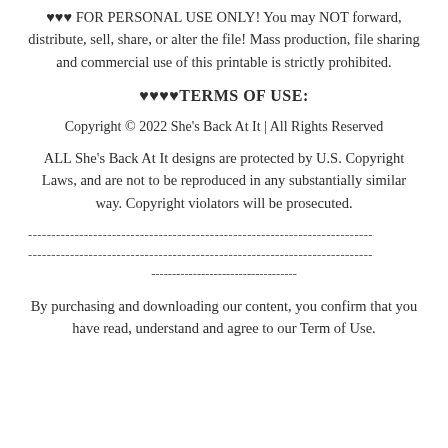♥♥♥ FOR PERSONAL USE ONLY! You may NOT forward, distribute, sell, share, or alter the file! Mass production, file sharing and commercial use of this printable is strictly prohibited.
♥♥♥♥TERMS OF USE:
Copyright © 2022 She's Back At It | All Rights Reserved
ALL She's Back At It designs are protected by U.S. Copyright Laws, and are not to be reproduced in any substantially similar way. Copyright violators will be prosecuted.
--------------------------------------------------------------------------
--------------------------------------------------------------------------
-----------------------------------
By purchasing and downloading our content, you confirm that you have read, understand and agree to our Term of Use.